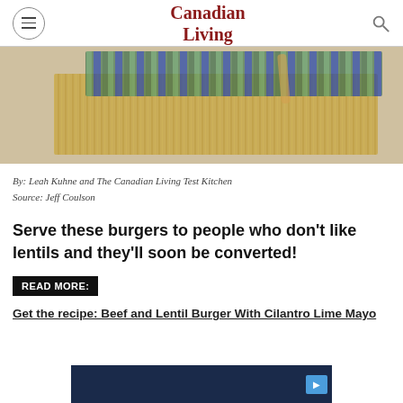Canadian Living
[Figure (photo): Close-up photo of burlap/jute textured fabric with colorful cloth in blue and green pattern, and a wooden spoon visible, on a white surface.]
By: Leah Kuhne and The Canadian Living Test Kitchen
Source: Jeff Coulson
Serve these burgers to people who don't like lentils and they'll soon be converted!
READ MORE:
Get the recipe: Beef and Lentil Burger With Cilantro Lime Mayo
[Figure (screenshot): Advertisement banner at the bottom of the page with dark blue background and a play button icon.]